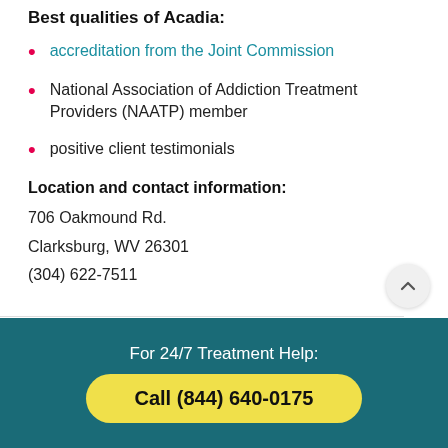Best qualities of Acadia:
accreditation from the Joint Commission
National Association of Addiction Treatment Providers (NAATP) member
positive client testimonials
Location and contact information:
706 Oakmound Rd.
Clarksburg, WV 26301
(304) 622-7511
For 24/7 Treatment Help:
Call (844) 640-0175